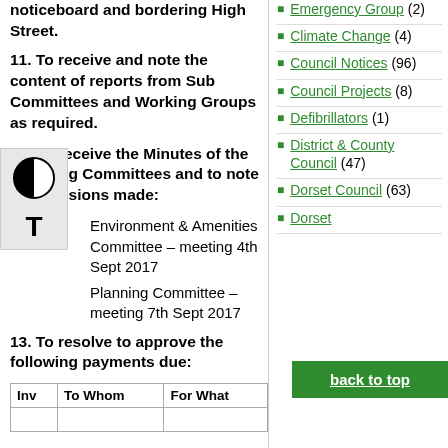noticeboard and bordering High Street.
11. To receive and note the content of reports from Sub Committees and Working Groups as required.
12. To receive the Minutes of the following Committees and to note the decisions made:
Environment & Amenities Committee – meeting 4th Sept 2017
Planning Committee – meeting 7th Sept 2017
13. To resolve to approve the following payments due:
| Inv | To Whom | For What |
| --- | --- | --- |
Emergency Group (2)
Climate Change (4)
Council Notices (96)
Council Projects (8)
Defibrillators (1)
District & County Council (47)
Dorset Council (63)
Dorset